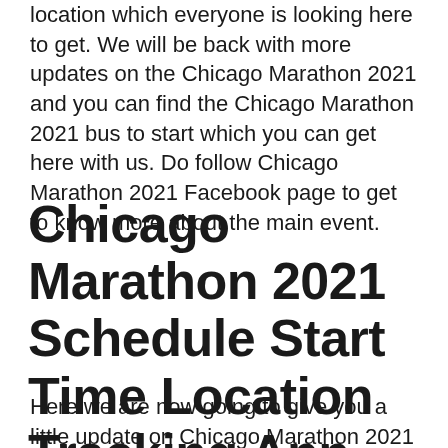location which everyone is looking here to get. We will be back with more updates on the Chicago Marathon 2021 and you can find the Chicago Marathon 2021 bus to start which you can get here with us. Do follow Chicago Marathon 2021 Facebook page to get to know more about the main event.
Chicago Marathon 2021 Schedule Start Time Location Tracking App
Here we are now going to give you a little update on Chicago Marathon 2021 Schedule Start Time Location Tracking App and this will